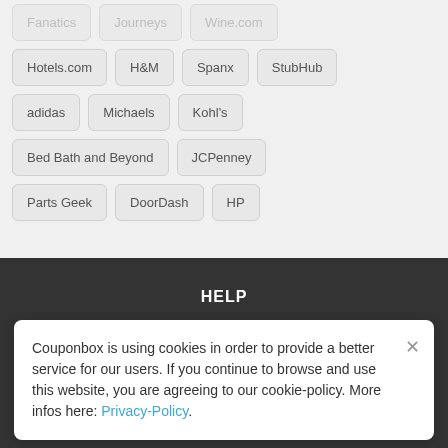[Figure (screenshot): Partial top row of store buttons partially cut off: Fanatics, Journeys, Wine.com]
Hotels.com
H&M
Spanx
StubHub
adidas
Michaels
Kohl's
Bed Bath and Beyond
JCPenney
Parts Geek
DoorDash
HP
HELP
About Us
Couponbox is using cookies in order to provide a better service for our users. If you continue to browse and use this website, you are agreeing to our cookie-policy. More infos here: Privacy-Policy.